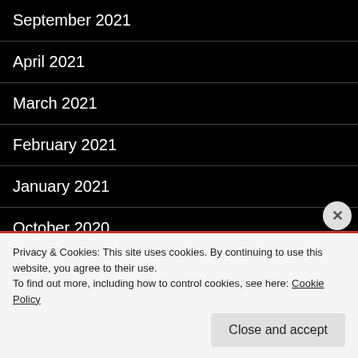September 2021
April 2021
March 2021
February 2021
January 2021
October 2020
September 2020
June 2020
May 2020
Privacy & Cookies: This site uses cookies. By continuing to use this website, you agree to their use.
To find out more, including how to control cookies, see here: Cookie Policy
Close and accept